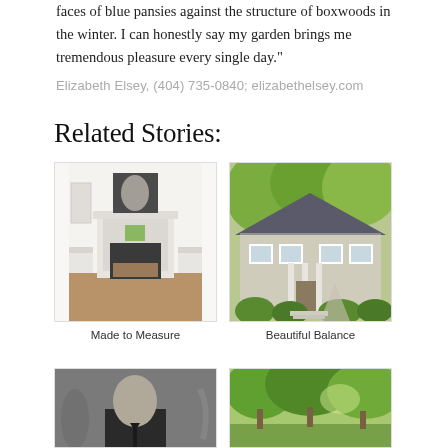faces of blue pansies against the structure of boxwoods in the winter. I can honestly say my garden brings me tremendous pleasure every single day."
Elizabeth Elsey, (404) 735-0840; elizabethelsey.com
Related Stories:
[Figure (photo): Interior room with white fireplace, armchairs, and a dark painting of a dress above the mantel]
Made to Measure
[Figure (photo): Exterior of a house with white columns, green shrubs, and lush tree canopy]
Beautiful Balance
[Figure (photo): Black and white portrait of a man in a suit]
[Figure (photo): Outdoor garden scene with large green trees]